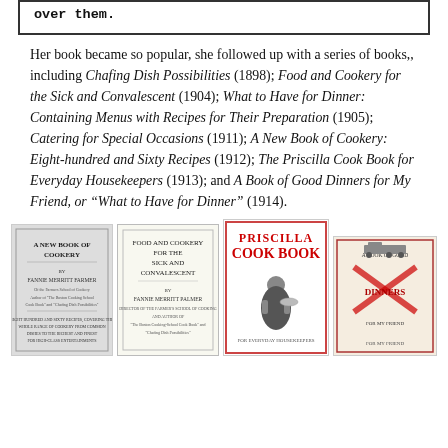over them.
Her book became so popular, she followed up with a series of books,, including Chafing Dish Possibilities (1898); Food and Cookery for the Sick and Convalescent (1904); What to Have for Dinner: Containing Menus with Recipes for Their Preparation (1905); Catering for Special Occasions (1911); A New Book of Cookery: Eight-hundred and Sixty Recipes (1912); The Priscilla Cook Book for Everyday Housekeepers (1913); and A Book of Good Dinners for My Friend, or “What to Have for Dinner” (1914).
[Figure (photo): Four book covers displayed side by side: 'A New Book of Cookery' by Fannie Merritt Farmer, 'Food and Cookery for the Sick and Convalescent' by Fannie Merritt Palmer, 'Priscilla Cook Book' with illustration of woman in apron, and 'A Book of Good Dinners for My Friend' with red X design.]